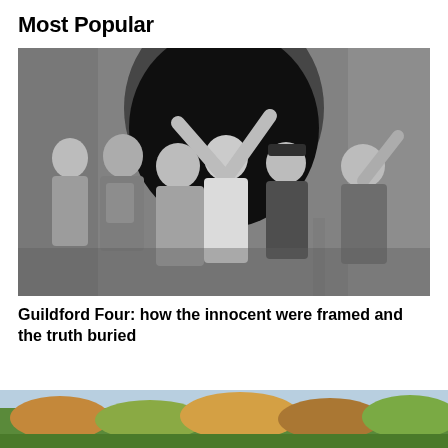Most Popular
[Figure (photo): Black and white photograph of people celebrating outdoors, raising arms. Appears to show the Guildford Four being released, with people cheering and police officers visible in the background.]
Guildford Four: how the innocent were framed and the truth buried
[Figure (photo): Partial view of a color photograph showing trees with autumn foliage in a landscape setting.]